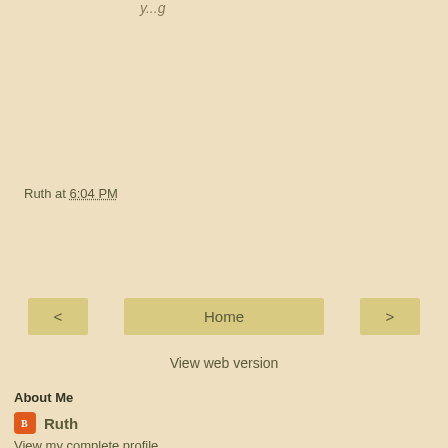y...g
Ruth at 6:04 PM
< Home >
View web version
About Me
Ruth
View my complete profile